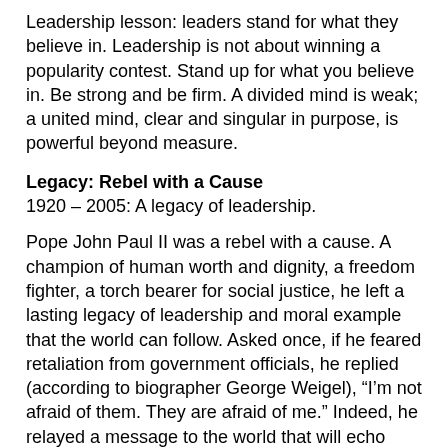Leadership lesson: leaders stand for what they believe in. Leadership is not about winning a popularity contest. Stand up for what you believe in. Be strong and be firm. A divided mind is weak; a united mind, clear and singular in purpose, is powerful beyond measure.
Legacy: Rebel with a Cause
1920 – 2005: A legacy of leadership.
Pope John Paul II was a rebel with a cause. A champion of human worth and dignity, a freedom fighter, a torch bearer for social justice, he left a lasting legacy of leadership and moral example that the world can follow. Asked once, if he feared retaliation from government officials, he replied (according to biographer George Weigel), “I’m not afraid of them. They are afraid of me.” Indeed, he relayed a message to the world that will echo through eternity: “Be not afraid!”
Sharif Khan is a speaker, writer, coach, and author of Psychology of the Hero Soul, an inspirational book on awakening the hero within and developing people’s leadership potential. For more information, visit